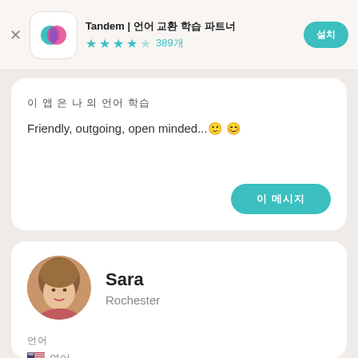[Figure (screenshot): Tandem app header with icon, title, star rating (4.5 stars, 389 reviews), and a teal download button]
이 앱 은 나 의 언어 학습
Friendly, outgoing, open minded...🙂 😊
이 메시지
Sara
Rochester
언어
🇺🇸 영어